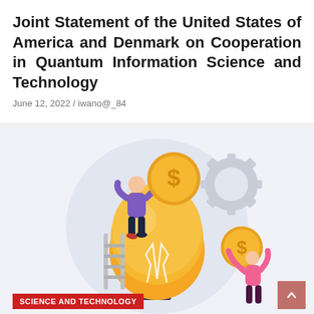Joint Statement of the United States of America and Denmark on Cooperation in Quantum Information Science and Technology
June 12, 2022 / iwano@_84
[Figure (illustration): Illustration of two people placing dollar coin signs onto a large glowing light bulb, with gear shapes in the background, symbolizing science and technology funding/innovation.]
SCIENCE AND TECHNOLOGY
Have a Science & Tech Startup Idea? These Govt Grants Will Help